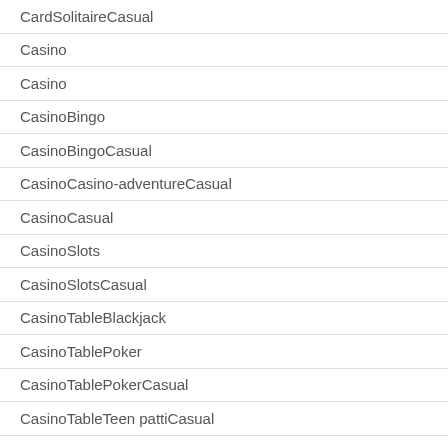CardSolitaireCasual
Casino
Casino
CasinoBingo
CasinoBingoCasual
CasinoCasino-adventureCasual
CasinoCasual
CasinoSlots
CasinoSlotsCasual
CasinoTableBlackjack
CasinoTablePoker
CasinoTablePokerCasual
CasinoTableTeen pattiCasual